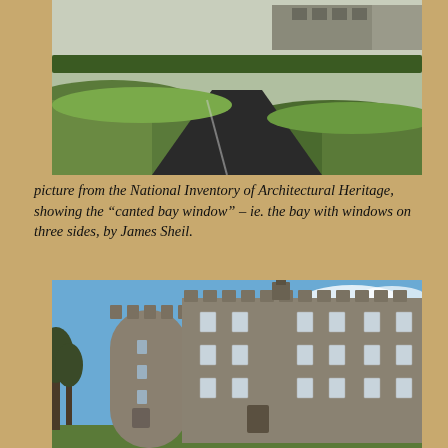[Figure (photo): Aerial/ground-level photograph of a manicured green landscape with grass mounds, a path, and a historic building visible in the background. From the National Inventory of Architectural Heritage.]
picture from the National Inventory of Architectural Heritage, showing the “canted bay window” – ie. the bay with windows on three sides, by James Sheil.
[Figure (photo): Photograph of a large stone castle with a cylindrical tower on the left, battlements along the roofline, and multiple rows of white-framed windows. Blue sky in background.]